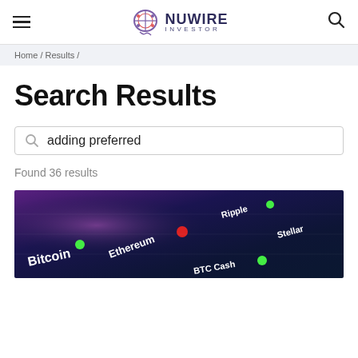NuWire Investor
Home / Results /
Search Results
adding preferred
Found 36 results
[Figure (photo): Cryptocurrency trading screen showing Bitcoin, Ethereum, Ripple, Stellar, and Bitcoin Cash with green and red indicator dots]